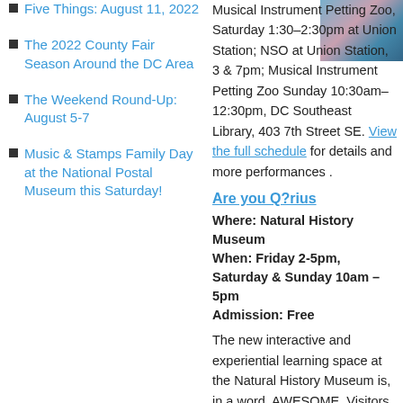Five Things: August 11, 2022
The 2022 County Fair Season Around the DC Area
The Weekend Round-Up: August 5-7
Music & Stamps Family Day at the National Postal Museum this Saturday!
[Figure (photo): Photo of a person or scene, top right corner]
Musical Instrument Petting Zoo, Saturday 1:30–2:30pm at Union Station; NSO at Union Station, 3 & 7pm; Musical Instrument Petting Zoo Sunday 10:30am–12:30pm, DC Southeast Library, 403 7th Street SE. View the full schedule for details and more performances .
Are you Q?rius
Where: Natural History Museum
When: Friday 2-5pm, Saturday & Sunday 10am – 5pm
Admission: Free
The new interactive and experiential learning space at the Natural History Museum is, in a word, AWESOME. Visitors can view up close – and in many cases handle – real artifacts and specimens from the museum's